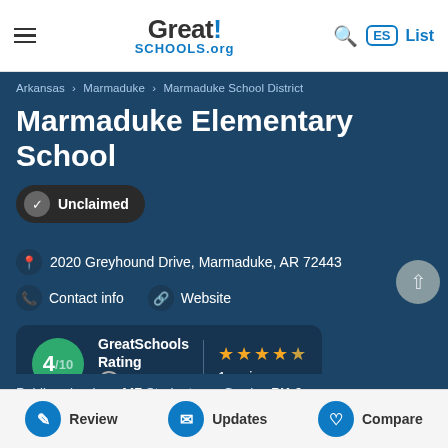Great!Schools.org — Search ES List
Arkansas › Marmaduke › Marmaduke School District
Marmaduke Elementary School
Unclaimed
2020 Greyhound Drive, Marmaduke, AR 72443
Contact info   Website
GreatSchools Rating 4/10 — 1 reviews (4 stars)
Public school   447 Students   Grades PK-6
Review   Updates   Compare